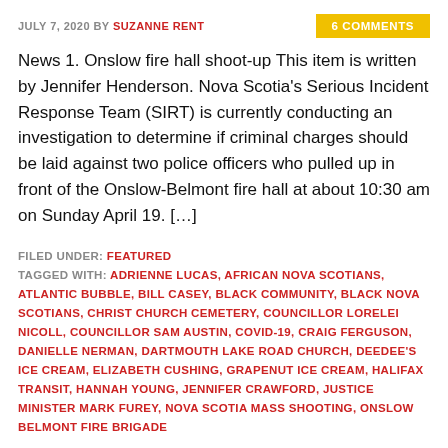JULY 7, 2020 BY SUZANNE RENT
News 1. Onslow fire hall shoot-up This item is written by Jennifer Henderson. Nova Scotia's Serious Incident Response Team (SIRT) is currently conducting an investigation to determine if criminal charges should be laid against two police officers who pulled up in front of the Onslow-Belmont fire hall at about 10:30 am on Sunday April 19. […]
FILED UNDER: FEATURED
TAGGED WITH: ADRIENNE LUCAS, AFRICAN NOVA SCOTIANS, ATLANTIC BUBBLE, BILL CASEY, BLACK COMMUNITY, BLACK NOVA SCOTIANS, CHRIST CHURCH CEMETERY, COUNCILLOR LORELEI NICOLL, COUNCILLOR SAM AUSTIN, COVID-19, CRAIG FERGUSON, DANIELLE NERMAN, DARTMOUTH LAKE ROAD CHURCH, DEEDEE'S ICE CREAM, ELIZABETH CUSHING, GRAPENUT ICE CREAM, HALIFAX TRANSIT, HANNAH YOUNG, JENNIFER CRAWFORD, JUSTICE MINISTER MARK FUREY, NOVA SCOTIA MASS SHOOTING, ONSLOW BELMONT FIRE BRIGADE